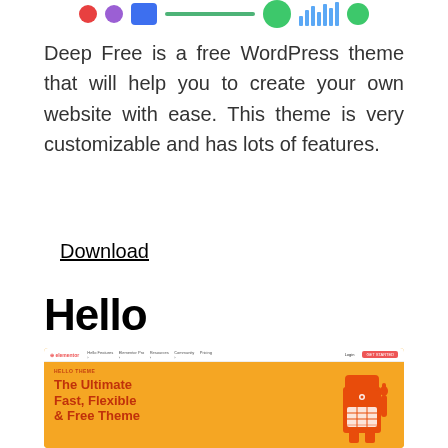[Logo/icon bar — partial image at top]
Deep Free is a free WordPress theme that will help you to create your own website with ease. This theme is very customizable and has lots of features.
Download
Hello
[Figure (screenshot): Screenshot of the Elementor Hello theme website showing orange background with 'The Ultimate Fast, Flexible & Free Theme' heading and an orange robot mascot character on the right.]